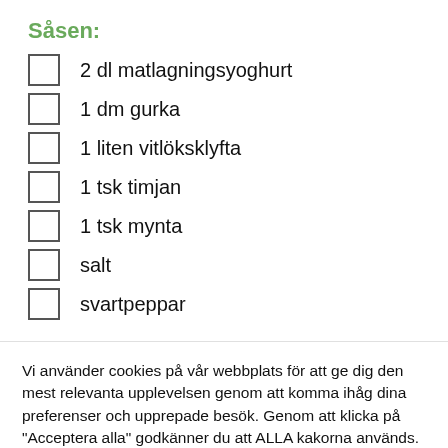Såsen:
2 dl matlagningsyoghurt
1 dm gurka
1 liten vitlöksklyfta
1 tsk timjan
1 tsk mynta
salt
svartpeppar
Vi använder cookies på vår webbplats för att ge dig den mest relevanta upplevelsen genom att komma ihåg dina preferenser och upprepade besök. Genom att klicka på "Acceptera alla" godkänner du att ALLA kakorna används. Du kan dock besöka "Cookieinställningar" för att ge ett kontrollerat samtycke.
Cookie Settings | Acceptera alla kakor